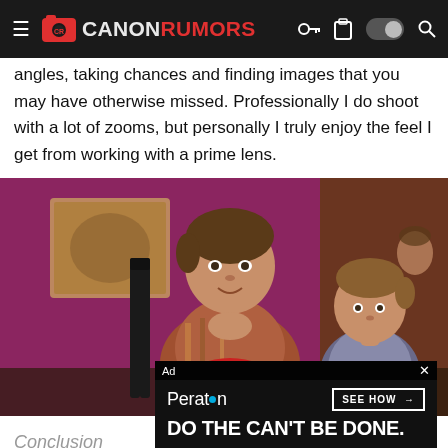CANONRUMORS
angles, taking chances and finding images that you may have otherwise missed. Professionally I do shoot with a lot of zooms, but personally I truly enjoy the feel I get from working with a prime lens.
[Figure (photo): Two young boys seated at a dining table in front of a magenta/purple wall. The boy on the left is looking up with hands clasped, wearing a plaid shirt. The boy on the right is in a gray top looking upward.]
[Figure (other): Peraton advertisement overlay with text 'DO THE CAN'T BE DONE.' and a 'SEE HOW →' button]
Advertisement
Conclusion